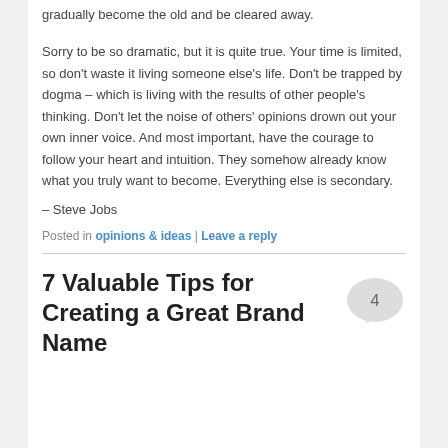gradually become the old and be cleared away.
Sorry to be so dramatic, but it is quite true. Your time is limited, so don't waste it living someone else's life. Don't be trapped by dogma – which is living with the results of other people's thinking. Don't let the noise of others' opinions drown out your own inner voice. And most important, have the courage to follow your heart and intuition. They somehow already know what you truly want to become. Everything else is secondary.
– Steve Jobs
Posted in opinions & ideas | Leave a reply
7 Valuable Tips for Creating a Great Brand Name